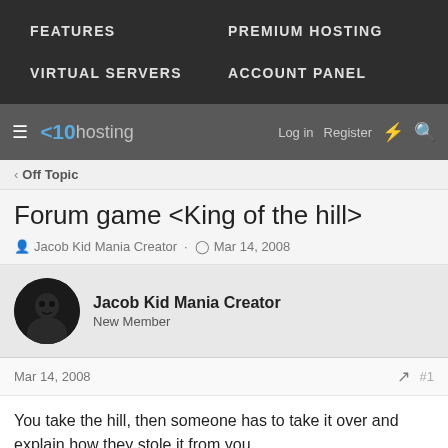FEATURES   PREMIUM HOSTING   VIRTUAL SERVERS   ACCOUNT PANEL
x10hosting - Log in  Register
Off Topic
Forum game <King of the hill>
Jacob Kid Mania Creator · Mar 14, 2008
Jacob Kid Mania Creator
New Member
Mar 14, 2008  #1
You take the hill, then someone has to take it over and explain how they stole it from you